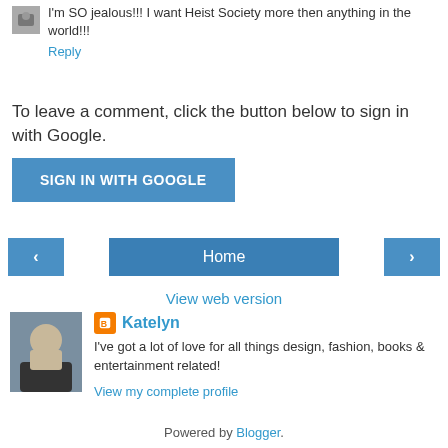I'm SO jealous!!! I want Heist Society more then anything in the world!!!
Reply
To leave a comment, click the button below to sign in with Google.
SIGN IN WITH GOOGLE
‹
Home
›
View web version
Katelyn
I've got a lot of love for all things design, fashion, books & entertainment related!
View my complete profile
Powered by Blogger.